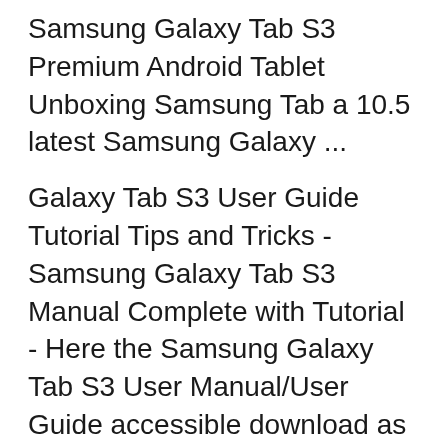Samsung Galaxy Tab S3 Premium Android Tablet Unboxing Samsung Tab a 10.5 latest Samsung Galaxy ...
Galaxy Tab S3 User Guide Tutorial Tips and Tricks - Samsung Galaxy Tab S3 Manual Complete with Tutorial - Here the Samsung Galaxy Tab S3 User Manual/User Guide accessible download as Galaxy Tab S3 Manual PDF. Learn with us how to utilize new Samsung S3 Tab finish with our Galaxy S3 … Oct 14, 2017 · Better Than the Fire HD 8? 2017 Samsung Galaxy Tab A 8 Review Samsung Galaxy Tab S3 Premium Android Tablet Unboxing Samsung Tab a 10.5 latest Samsung Galaxy ...